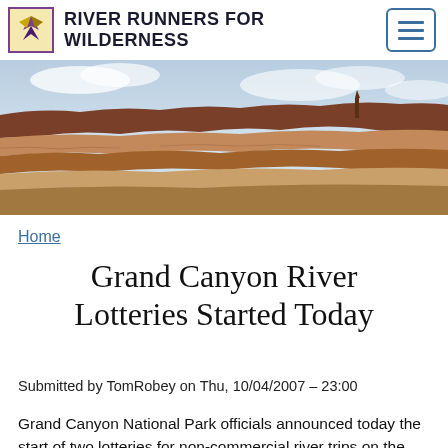RIVER RUNNERS FOR WILDERNESS
[Figure (photo): Panoramic photograph of the Grand Canyon showing red rock canyon walls, layered sedimentary formations, desert terrain, and a partly cloudy sky.]
Home
Grand Canyon River Lotteries Started Today
Submitted by TomRobey on Thu, 10/04/2007 – 23:00
Grand Canyon National Park officials announced today the start of two lotteries for non-commercial river trips on the Colorado